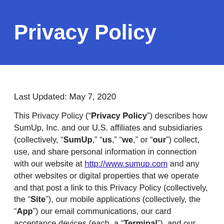Privacy Policy
Last Updated: May 7, 2020
This Privacy Policy (“Privacy Policy”) describes how SumUp, Inc. and our U.S. affiliates and subsidiaries (collectively, “SumUp,” “us,” “we,” or “our”) collect, use, and share personal information in connection with our website at http://www.sumup.com and any other websites or digital properties that we operate and that post a link to this Privacy Policy (collectively, the “Site”), our mobile applications (collectively, the “App”) our email communications, our card acceptance devices (each, a “Terminal”), and our payment processing, gift card